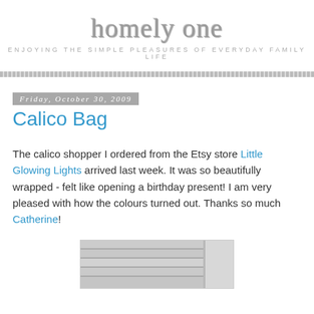homely one
ENJOYING THE SIMPLE PLEASURES OF EVERYDAY FAMILY LIFE
Friday, October 30, 2009
Calico Bag
The calico shopper I ordered from the Etsy store Little Glowing Lights arrived last week. It was so beautifully wrapped - felt like opening a birthday present! I am very pleased with how the colours turned out. Thanks so much Catherine!
[Figure (photo): Partial photo of a calico bag or white slatted surface, cropped at bottom of page]